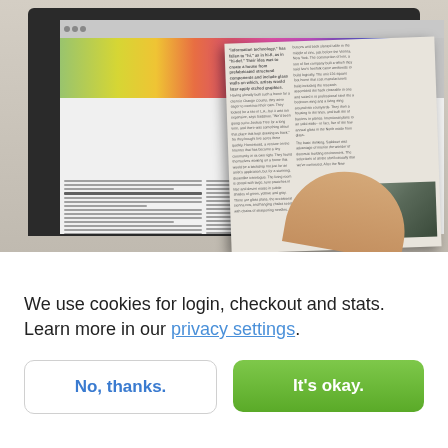[Figure (photo): A computer monitor displaying a colorful screen with a gradient color bar and document columns, while a hand holds a printed magazine/book in front of the screen]
We use cookies for login, checkout and stats. Learn more in our privacy settings.
No, thanks.
It's okay.